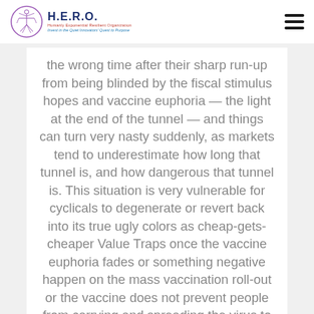H.E.R.O. — Humanly Exponential Resilient Organization — Invest in the Quiet Innovators' Quest to Purpose
the wrong time after their sharp run-up from being blinded by the fiscal stimulus hopes and vaccine euphoria — the light at the end of the tunnel — and things can turn very nasty suddenly, as markets tend to underestimate how long that tunnel is, and how dangerous that tunnel is. This situation is very vulnerable for cyclicals to degenerate or revert back into its true ugly colors as cheap-gets-cheaper Value Traps once the vaccine euphoria fades or something negative happen on the mass vaccination roll-out or the vaccine does not prevent people from carrying and spreading the virus to others or new mutated virus strains erupt to render the